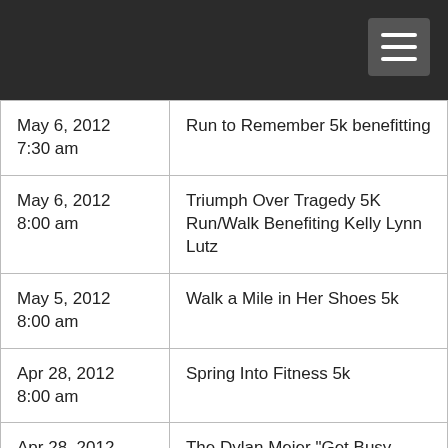| May 6, 2012
7:30 am | Run to Remember 5k benefitting |
| May 6, 2012
8:00 am | Triumph Over Tragedy 5K Run/Walk Benefiting Kelly Lynn Lutz |
| May 5, 2012
8:00 am | Walk a Mile in Her Shoes 5k |
| Apr 28, 2012
8:00 am | Spring Into Fitness 5k |
| Apr 28, 2012
9:00 am | The Dylan Meier "Get Busy Livin" Run/Walk 2012: |